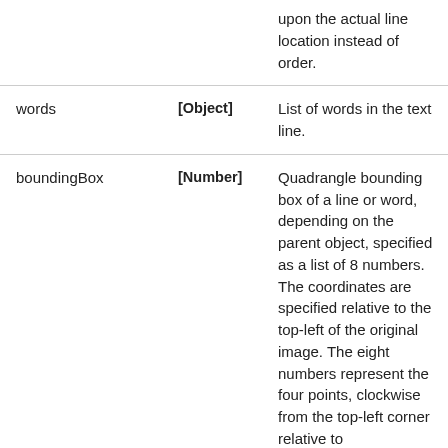|  |  |  |
| --- | --- | --- |
|  |  | upon the actual line location instead of order. |
| words | [Object] | List of words in the text line. |
| boundingBox | [Number] | Quadrangle bounding box of a line or word, depending on the parent object, specified as a list of 8 numbers. The coordinates are specified relative to the top-left of the original image. The eight numbers represent the four points, clockwise from the top-left corner relative to |